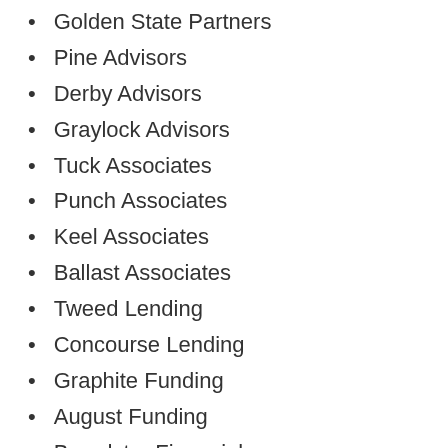Golden State Partners
Pine Advisors
Derby Advisors
Graylock Advisors
Tuck Associates
Punch Associates
Keel Associates
Ballast Associates
Tweed Lending
Concourse Lending
Graphite Funding
August Funding
Broadstar Financial
Salvation Funding
Stallion Lending
Pebblestone Financial
Sussex Funding
Lafayette Funding
Guardian Angel Funding